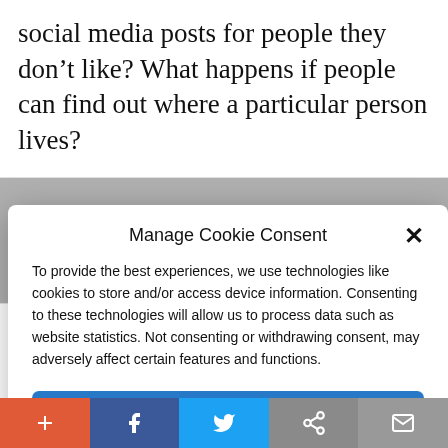social media posts for people they don’t like? What happens if people can find out where a particular person lives?
Manage Cookie Consent
To provide the best experiences, we use technologies like cookies to store and/or access device information. Consenting to these technologies will allow us to process data such as website statistics. Not consenting or withdrawing consent, may adversely affect certain features and functions.
Accept
Cookie Policy   Privacy Policy
haven’t even typed in the domain name
+ f (twitter) (link) (mail)